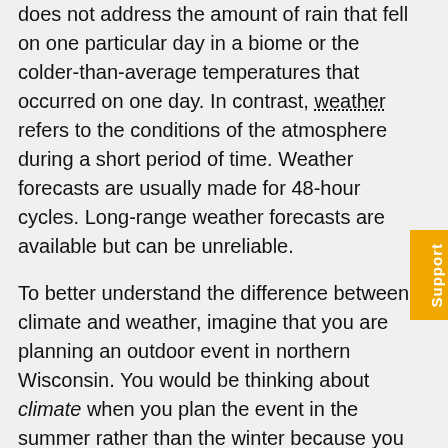does not address the amount of rain that fell on one particular day in a biome or the colder-than-average temperatures that occurred on one day. In contrast, weather refers to the conditions of the atmosphere during a short period of time. Weather forecasts are usually made for 48-hour cycles. Long-range weather forecasts are available but can be unreliable.
To better understand the difference between climate and weather, imagine that you are planning an outdoor event in northern Wisconsin. You would be thinking about climate when you plan the event in the summer rather than the winter because you have long-term knowledge that any given Saturday in the months of May to August would be a better choice for an outdoor event in Wisconsin than any given Saturday in January. However, you cannot determine the specific day that the event should be held on because it is difficult to accurately predict the weather